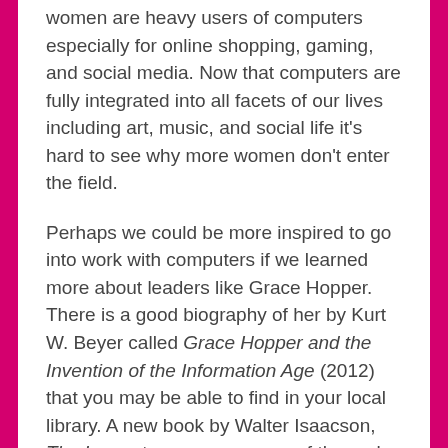women are heavy users of computers especially for online shopping, gaming, and social media. Now that computers are fully integrated into all facets of our lives including art, music, and social life it's hard to see why more women don't enter the field.
Perhaps we could be more inspired to go into work with computers if we learned more about leaders like Grace Hopper. There is a good biography of her by Kurt W. Beyer called Grace Hopper and the Invention of the Information Age (2012) that you may be able to find in your local library. A new book by Walter Isaacson, The Innovators, covers many of the early leaders including Hopper. I haven't seen that one yet, but it's likely to become a best seller like his biography of Steve Jobs and may be a great introduction to Grace Hopper's world.